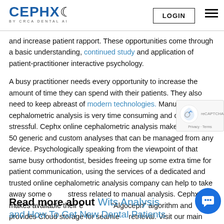CEPHX BY CRCA DENTAL AI | LOGIN
and increase patient rapport. These opportunities come through a basic understanding, continued study and application of patient-practitioner interactive psychology.
A busy practitioner needs every opportunity to increase the amount of time they can spend with their patients. They also need to keep abreast of modern technologies. Manual cephalometric analysis is very time consuming and can be stressful. Cephx online cephalometric analysis makes available 50 generic and custom analyses that can be managed from any device. Psychologically speaking from the viewpoint of that same busy orthodontist, besides freeing up some extra time for patient communication, using the services of a dedicated and trusted online cephalometric analysis company can help to take away some of the stress related to manual analysis. Cephx makes their exclusive "Algoceph" algorithm and provides Cloud storage for seamless retrieval. Visit our main website at: https://www.cephx.com/
Read more about Wits Analysis and How To Get New Dental Patients